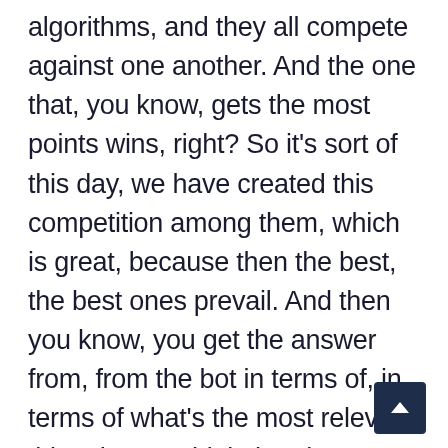algorithms, and they all compete against one another. And the one that, you know, gets the most points wins, right? So it's sort of this day, we have created this competition among them, which is great, because then the best, the best ones prevail. And then you know, you get the answer from, from the bot in terms of, in terms of what's the most relevant thing that we think that the user is asking? Because the just as a side note, you know, understanding humans for humans is hard. But then think how hard it is for